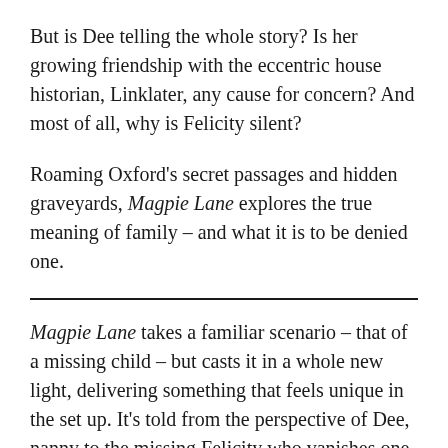But is Dee telling the whole story? Is her growing friendship with the eccentric house historian, Linklater, any cause for concern? And most of all, why is Felicity silent?
Roaming Oxford's secret passages and hidden graveyards, Magpie Lane explores the true meaning of family – and what it is to be denied one.
Magpie Lane takes a familiar scenario – that of a missing child – but casts it in a whole new light, delivering something that feels unique in the set up. It's told from the perspective of Dee, nanny to the missing Felicity who vanishes one night from her